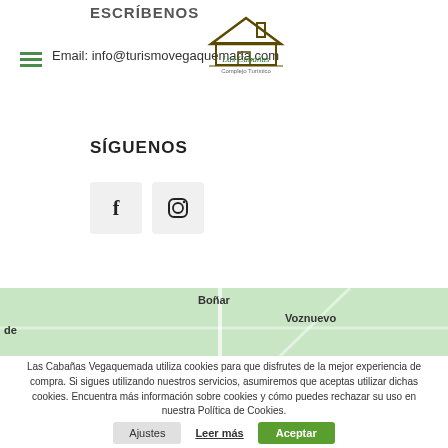ESCRÍBENOS
Email: info@turismovegaquemada.com
[Figure (logo): Las Cabañas Complejo Turístico logo with house roof icon]
SÍGUENOS
[Figure (illustration): Social media icons: Facebook (f) and Instagram camera icon in grey boxes]
[Figure (map): Google Maps snippet showing Boñar and Voznuevo locations on a green map background]
Las Cabañas Vegaquemada utiliza cookies para que disfrutes de la mejor experiencia de compra. Si sigues utilizando nuestros servicios, asumiremos que aceptas utilizar dichas cookies. Encuentra más información sobre cookies y cómo puedes rechazar su uso en nuestra Política de Cookies.
Ajustes    Leer más    Aceptar